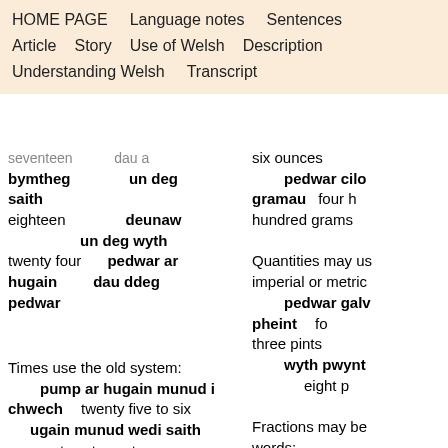HOME PAGE   Language notes   Sentences   Article   Story   Use of Welsh   Description   Understanding Welsh   Transcript
seventeen   dau a
bymtheg   un deg saith
eighteen   deunaw
   un deg wyth
twenty four   pedwar ar hugain   dau ddeg pedwar
six ounces
   pedwar cilo gramau   four hundred grams

Quantities may use imperial or metric
   pedwar galw pheint   fo three pints
   wyth pwynt   eight p

Fractions may be words:
   treonn...
Times use the old system:
   pump ar hugain munud i chwech   twenty five to six
   ugain munud wedi saith   twenty past seven